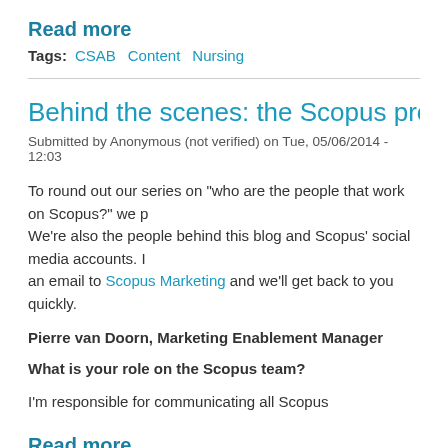Read more
Tags:   CSAB   Content   Nursing
Behind the scenes: the Scopus product te
Submitted by Anonymous (not verified) on Tue, 05/06/2014 - 12:03
To round out our series on "who are the people that work on Scopus?" we p... We're also the people behind this blog and Scopus' social media accounts. ... an email to Scopus Marketing and we'll get back to you quickly.
Pierre van Doorn,  Marketing Enablement Manager
What is your role on the Scopus team?
I'm responsible for communicating all Scopus
Read more
Tags:   Product Management   Who's Who